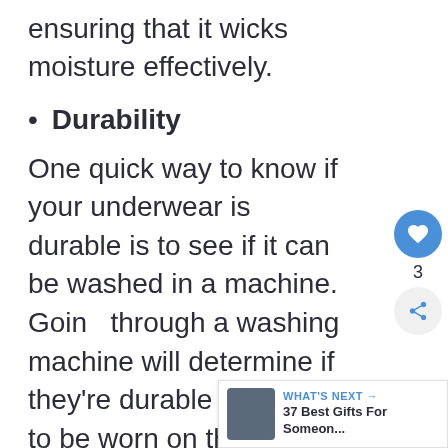ensuring that it wicks moisture effectively.
Durability
One quick way to know if your underwear is durable is to see if it can be washed in a machine. Going through a washing machine will determine if they're durable enough to be worn on the trail
Odor management